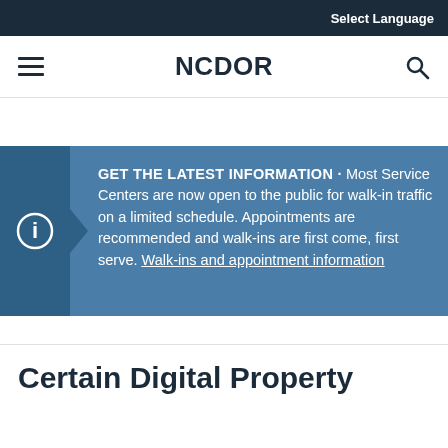Select Language
NCDOR
GET THE LATEST INFORMATION · Most Service Centers are now open to the public for walk-in traffic on a limited schedule. Appointments are recommended and walk-ins are first come, first serve. Walk-ins and appointment information
Certain Digital Property